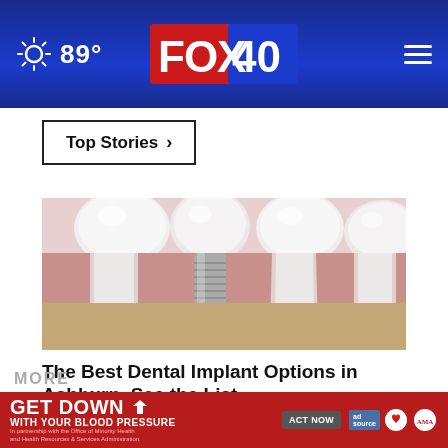89° FOX 40
Top Stories ›
[Figure (illustration): Medical illustration of a dental implant screw between natural teeth, showing cross-section of gum tissue and bone in pink/tan tones]
The Best Dental Implant Options in Ashburn. See the List.
Ad by Dental Implants | Sponsored
[Figure (infographic): GET DOWN with your blood pressure advertisement banner in red with ACT NOW button, ad source badge, American Heart Association and AMA logos]
MORE